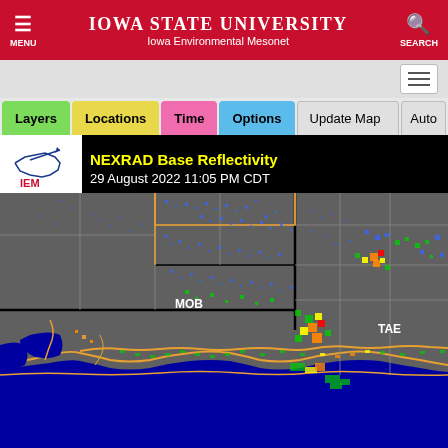Iowa State University Iowa Environmental Mesonet
[Figure (screenshot): Iowa Environmental Mesonet NEXRAD Base Reflectivity radar map showing 29 August 2022 11:05 PM CDT. Map displays southeastern US gulf coast area with radar returns showing precipitation in blue, green, yellow, orange and red colors. Station labels MOB and TAE visible. IEM logo in upper left corner of map.]